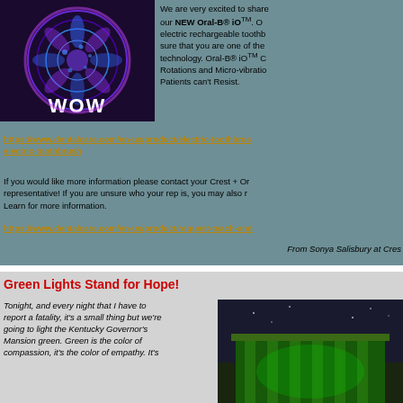[Figure (photo): WOW toothbrush promotional image with purple swirling light design on dark background]
We are very excited to share our NEW Oral-B® iOTM. Our electric rechargeable toothb... sure that you are one of the technology. Oral-B® iOTM Rotations and Micro-vibratio... Patients can't Resist.
https://www.dentalcare.com/en-us/product/electric-toothbrus... electric-toothbrush
If you would like more information please contact your Crest + Or representative! If you are unsure who your rep is, you may also r... Learn for more information.
https://www.dentalcare.com/en-us/product/request-teach-and...
From Sonya Salisbury at Cres...
Green Lights Stand for Hope!
Tonight, and every night that I have to report a fatality, it's a small thing but we're going to light the Kentucky Governor's Mansion green. Green is the color of compassion, it's the color of empathy. It's
[Figure (photo): Building lit up in green light at night - appears to be the Kentucky Governor's Mansion]